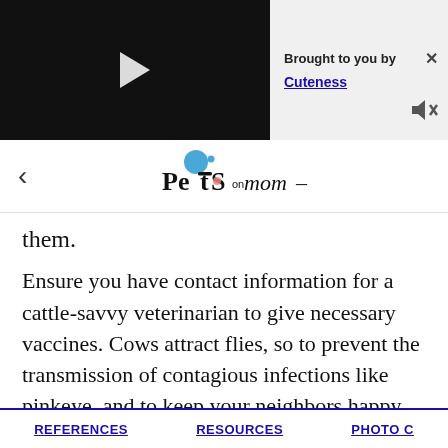[Figure (screenshot): Video player (black background with play button triangle) on left; 'Brought to you by Cuteness' sponsored box on right with close X and mute icon]
[Figure (logo): Pets on Mom logo with blue circle and stylized text, with back arrow navigation on left]
them.
Ensure you have contact information for a cattle-savvy veterinarian to give necessary vaccines. Cows attract flies, so to prevent the transmission of contagious infections like pinkeye, and to keep your neighbors happy, proper fly control and pasture cleanliness are important.
REFERENCES   RESOURCES   PHOTO C